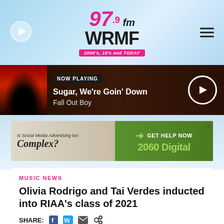97.9 FM WRMF — 2000's, 10's and TODAY
NOW PLAYING
Sugar, We're Goin' Down
Fall Out Boy
[Figure (screenshot): Advertisement banner: Is Social Media Advertising too Complex? GET HELP NOW — 2060 Digital]
MUSIC NEWS
Olivia Rodrigo and Tai Verdes inducted into RIAA's class of 2021
SHARE: